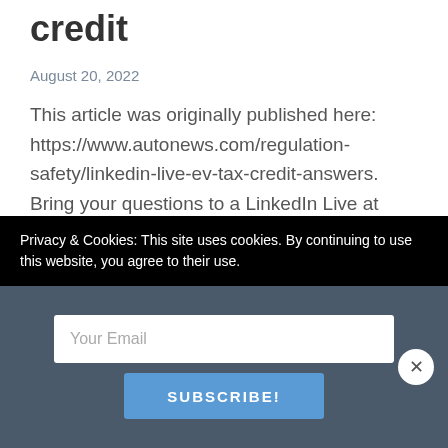credit
August 20, 2022
This article was originally published here: https://www.autonews.com/regulation-safety/linkedin-live-ev-tax-credit-answers. Bring your questions to a LinkedIn Live at noon EDT Wednesday, Aug. 24, as we discuss the new electric vehicle tax credits under the Inflation Reduction Act. The new rules are more complicated and are designed to incentivize domestic production, reduce reliance on foreign supply chains and prevent
Privacy & Cookies: This site uses cookies. By continuing to use this website, you agree to their use.
Your Email
SUBSCRIBE!